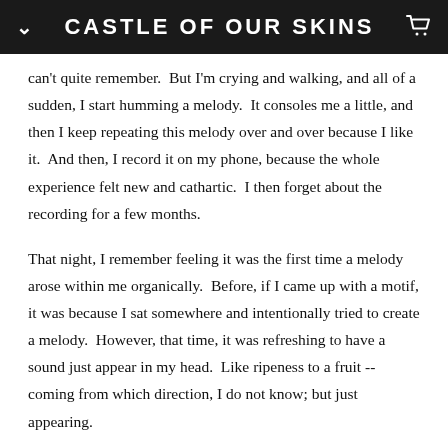CASTLE OF OUR SKINS
can't quite remember.  But I'm crying and walking, and all of a sudden, I start humming a melody.  It consoles me a little, and then I keep repeating this melody over and over because I like it.  And then, I record it on my phone, because the whole experience felt new and cathartic.  I then forget about the recording for a few months.
That night, I remember feeling it was the first time a melody arose within me organically.  Before, if I came up with a motif, it was because I sat somewhere and intentionally tried to create a melody.  However, that time, it was refreshing to have a sound just appear in my head.  Like ripeness to a fruit -- coming from which direction, I do not know; but just appearing.